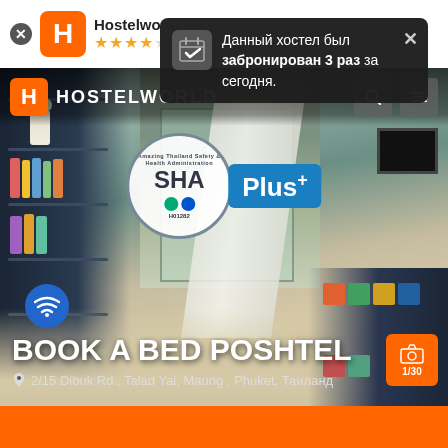[Figure (screenshot): Hostelworld app screenshot showing a modal notification overlay over the top bar. The white top bar shows the Hostelworld logo (orange H square) and star rating. A dark popup says 'Данный хостел был забронирован 3 раз за сегодня.' with a close X button.]
Данный хостел был забронирован 3 раз за сегодня.
[Figure (photo): Interior photo of Book A Bed Poshtel lobby in Phuket Thailand. Shows dark shelving units on the left with books and plants, a white open space in the center, glass doors at the back opening to an outdoor area, and a circular display counter on the right side. The Hostelworld navigation bar overlays the top with the HOSTELWORLD logo in white text and orange H icon. A SHA Plus+ certification badge is prominently displayed in the center. A WiFi icon badge appears on the lower left.]
BOOK A BED POSHTEL
2/15 Dibuk Rd., Talad Yai, Maung , Phuket, Таиланд
1/30